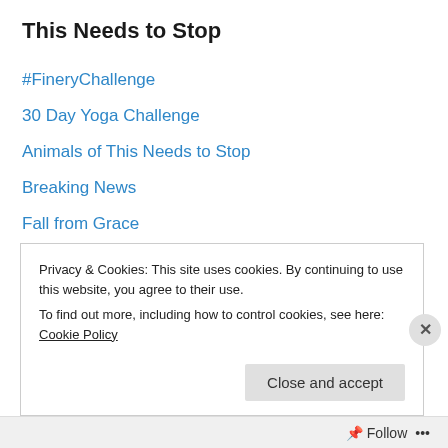This Needs to Stop
#FineryChallenge
30 Day Yoga Challenge
Animals of This Needs to Stop
Breaking News
Fall from Grace
Gossip Girl
Music
Pop Explosion
The Bees Knees
This Needs to Stop
This Used To Be Yours
Privacy & Cookies: This site uses cookies. By continuing to use this website, you agree to their use.
To find out more, including how to control cookies, see here: Cookie Policy
Close and accept
Follow ...